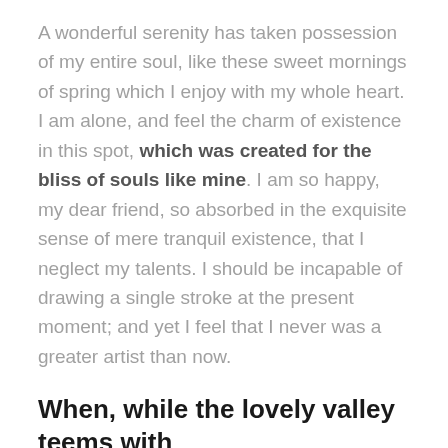A wonderful serenity has taken possession of my entire soul, like these sweet mornings of spring which I enjoy with my whole heart. I am alone, and feel the charm of existence in this spot, which was created for the bliss of souls like mine. I am so happy, my dear friend, so absorbed in the exquisite sense of mere tranquil existence, that I neglect my talents. I should be incapable of drawing a single stroke at the present moment; and yet I feel that I never was a greater artist than now.
When, while the lovely valley teems with
vapour around me, and the meridian sun strikes the upper surface of the impenetrable foliage